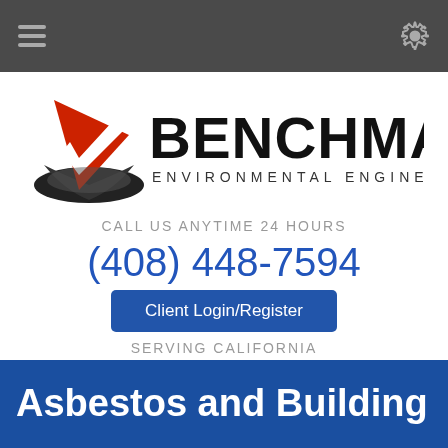Navigation bar with hamburger menu and settings icon
[Figure (logo): Benchmark Environmental Engineering logo with red arrow checkmark icon and bold BENCHMARK text with ENVIRONMENTAL ENGINEERING subtitle]
CALL US ANYTIME 24 HOURS
(408) 448-7594
Client Login/Register
SERVING CALIFORNIA
(800) 988-7424
Order Services Online
Asbestos and Building